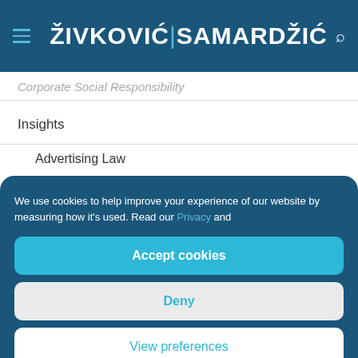ŽIVKOVIĆ|SAMARDŽIĆ
Corporate Social Responsibility
Insights
Advertising Law
We use cookies to help improve your experience of our website by measuring how it's used. Read our Privacy and
Accept cookies
Deny
View preferences
Cookies  Privacy policy